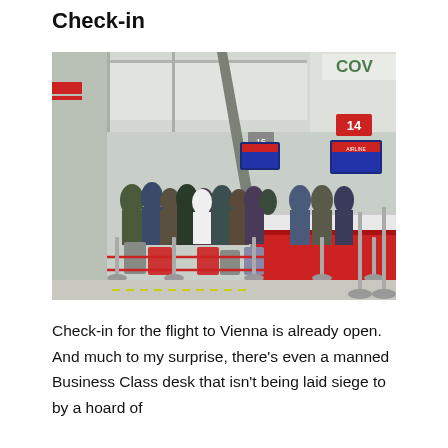Check-in
[Figure (photo): Airport check-in hall with queues of passengers with luggage waiting at check-in counters marked with numbers (14, 15). Red rope barriers separate the queues. Overhead flight information screens are visible. The scene shows a busy terminal with high ceilings and natural light.]
Check-in for the flight to Vienna is already open. And much to my surprise, there's even a manned Business Class desk that isn't being laid siege to by a hoard of